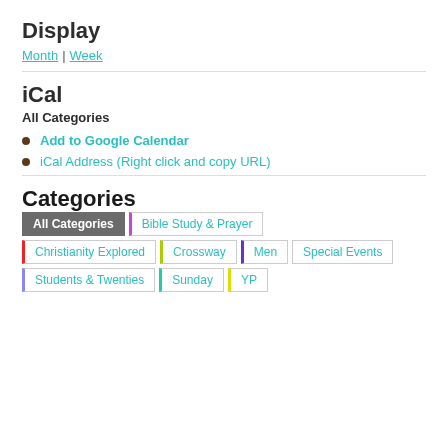Display
Month | Week
iCal
All Categories
Add to Google Calendar
iCal Address (Right click and copy URL)
Categories
All Categories | Bible Study & Prayer | Christianity Explored | Crossway | Men | Special Events | Students & Twenties | Sunday | YP